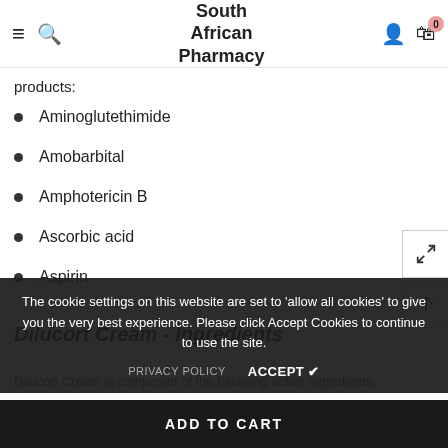South African Pharmacy
products:
Aminoglutethimide
Amobarbital
Amphotericin B
Ascorbic acid
Aspirin
The cookie settings on this website are set to 'allow all cookies' to give you the very best experience. Please click Accept Cookies to continue to use the site.
PRIVACY POLICY   ACCEPT ✔
Dilucort Cream - Ingredients
Dilucort Cream is composed of the following active ingredients.